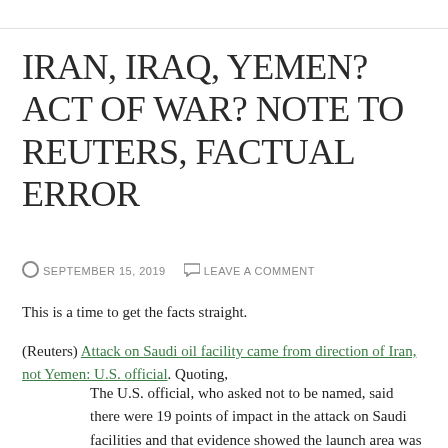IRAN, IRAQ, YEMEN? ACT OF WAR? NOTE TO REUTERS, FACTUAL ERROR
SEPTEMBER 15, 2019   LEAVE A COMMENT
This is a time to get the facts straight.
(Reuters) Attack on Saudi oil facility came from direction of Iran, not Yemen: U.S. official. Quoting,
The U.S. official, who asked not to be named, said there were 19 points of impact in the attack on Saudi facilities and that evidence showed the launch area was west-northwest of the targets – the direction of Iran – not